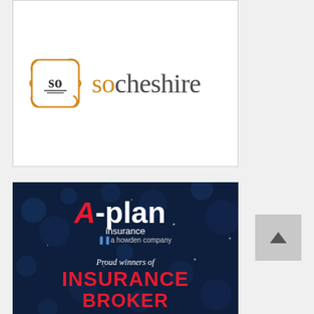[Figure (logo): socheshire logo: ornate amber/gold bracket emblem with 'so' inside, followed by 'socheshire' wordmark in orange and dark grey on white background with thin border]
[Figure (logo): A-plan insurance advertisement on dark navy starry background. Shows 'A-plan insurance a howden company' logo, then 'Proud winners of' text, then 'INSURANCE BROKER' text in large red capital letters. A-plan branding with red A and white -plan text.]